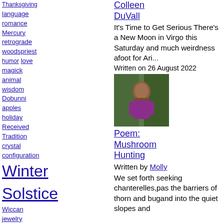Thanksgiving language romance Mercury retrograde woodspriest humor love magick animal wisdom Dobunni apples holiday Received Tradition crystal configuration Winter Solstice Wiccan jewelry interfaith Druid devil Modern Minoan Paganism identity loki cats Vernal Equinox myth global warming judaism
Colleen DuVall
It's Time to Get Serious There's a New Moon in Virgo this Saturday and much weirdness afoot for Ari...
Written on 26 August 2022
[Figure (photo): Thumbnail photo of a person outdoors with green foliage background]
Poem: Mushroom Hunting
Written by Molly
We set forth seeking chanterelles,past the barriers of thorn and bugand into the quiet slopes and